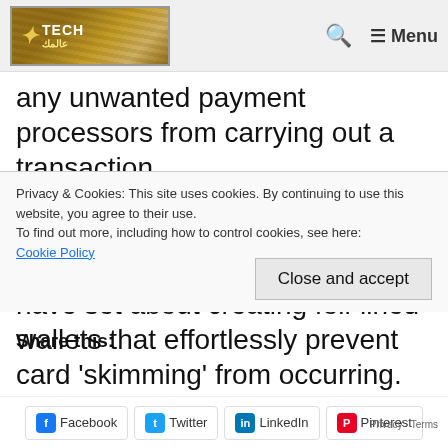Tech logo, search icon, Menu
any unwanted payment processors from carrying out a transaction.
Coating your cards in tinfoil sounds fairly impractical, so it’s handy that some businesses have set about creating foil-lined wallets that effortlessly prevent card ‘skimming’ from occurring. ‘RFID-blocking wallets’ promise to stop any meddling with
Privacy & Cookies: This site uses cookies. By continuing to use this website, you agree to their use.
To find out more, including how to control cookies, see here:
Cookie Policy
Close and accept
Share this:
Facebook  Twitter  LinkedIn  Pinterest